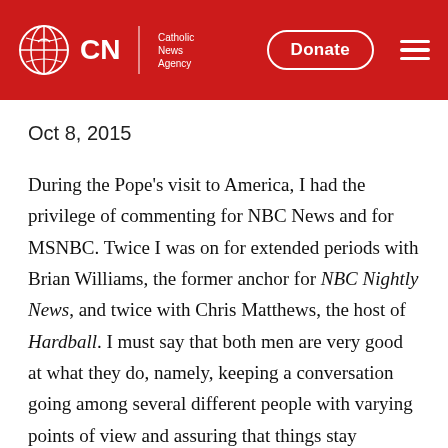CNA Catholic News Agency
Oct 8, 2015
During the Pope's visit to America, I had the privilege of commenting for NBC News and for MSNBC. Twice I was on for extended periods with Brian Williams, the former anchor for NBC Nightly News, and twice with Chris Matthews, the host of Hardball. I must say that both men are very good at what they do, namely, keeping a conversation going among several different people with varying points of view and assuring that things stay sufficiently lively and interesting. Like most gifted people, they make their particular work seem effortless, but it is a delicate and dangerous high-wire act that they are